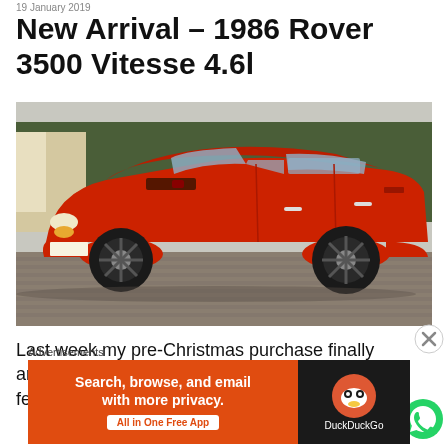19 January 2019
New Arrival – 1986 Rover 3500 Vitesse 4.6l
[Figure (photo): Side profile photo of a red 1986 Rover 3500 Vitesse 4.6l parked on a brick driveway in front of hedges and a fence. The car has black alloy wheels, a spoiler, and a hood scoop.]
Last week my pre-Christmas purchase finally arrived, though it was only held up due to the festivities and
Advertisements
[Figure (screenshot): DuckDuckGo advertisement banner: orange left panel reading 'Search, browse, and email with more privacy. All in One Free App' with white text and orange button; dark right panel with DuckDuckGo duck logo and text 'DuckDuckGo'.]